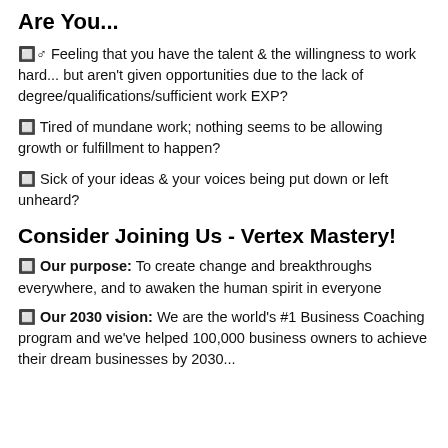Are You...
🔲♂ Feeling that you have the talent & the willingness to work hard... but aren't given opportunities due to the lack of degree/qualifications/sufficient work EXP?
🔲 Tired of mundane work; nothing seems to be allowing growth or fulfillment to happen?
🔲 Sick of your ideas & your voices being put down or left unheard?
Consider Joining Us - Vertex Mastery!
🔲 Our purpose: To create change and breakthroughs everywhere, and to awaken the human spirit in everyone
🔲 Our 2030 vision: We are the world's #1 Business Coaching program and we've helped 100,000 business owners to achieve their dream businesses by 2030...